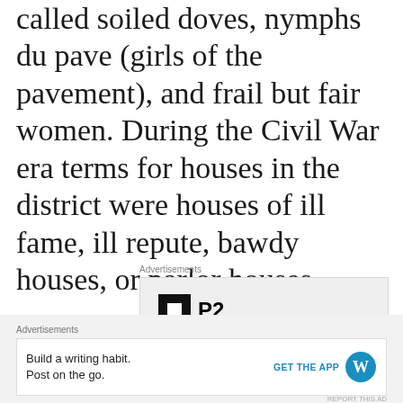known as public women. They were called soiled doves, nymphs du pave (girls of the pavement), and frail but fair women. During the Civil War era terms for houses in the district were houses of ill fame, ill repute, bawdy houses, or parlor houses.
Advertisements
[Figure (other): Advertisement box with P2 logo (black square with white inner square) and bold text 'Getting your team on']
Advertisements
[Figure (other): Bottom advertisement bar: 'Build a writing habit. Post on the go.' with GET THE APP button and WordPress logo]